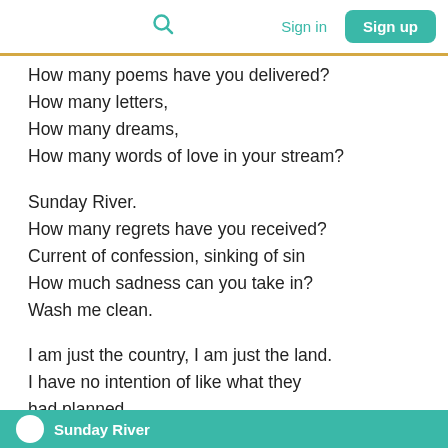Search | Sign in | Sign up
How many poems have you delivered?
How many letters,
How many dreams,
How many words of love in your stream?

Sunday River.
How many regrets have you received?
Current of confession, sinking of sin
How much sadness can you take in?
Wash me clean.

I am just the country, I am just the land.
I have no intention of like what they had planned
Sunday River